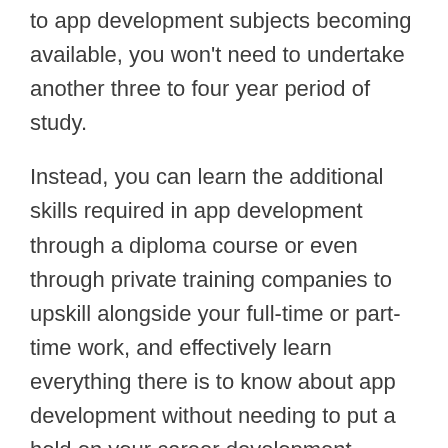to app development subjects becoming available, you won't need to undertake another three to four year period of study.
Instead, you can learn the additional skills required in app development through a diploma course or even through private training companies to upskill alongside your full-time or part-time work, and effectively learn everything there is to know about app development without needing to put a hold on your career development.
Your original bachelor's degree in tandem with this new certificate will make you highly employable, because you'll have the skills coupled with valuable industry